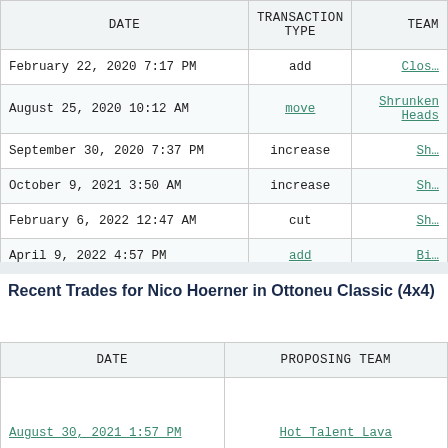| DATE | TRANSACTION TYPE | TEAM |
| --- | --- | --- |
| February 22, 2020 7:17 PM | add | Clos… |
| August 25, 2020 10:12 AM | move | Shrunken Heads |
| September 30, 2020 7:37 PM | increase | Sh… |
| October 9, 2021 3:50 AM | increase | Sh… |
| February 6, 2022 12:47 AM | cut | Sh… |
| April 9, 2022 4:57 PM | add | Bi… |
Recent Trades for Nico Hoerner in Ottoneu Classic (4x4)
| DATE | PROPOSING TEAM |
| --- | --- |
| August 30, 2021 1:57 PM | Hot Talent Lava |